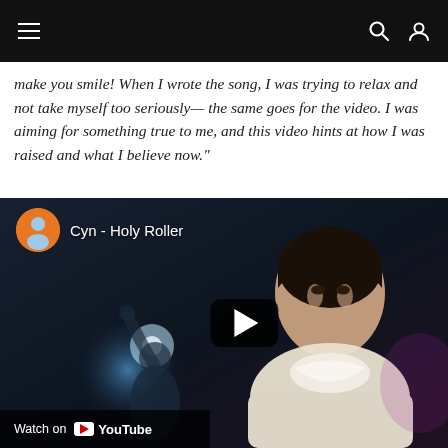[Navigation bar with hamburger menu, search icon, and user icon]
make you smile! When I wrote the song, I was trying to relax and not take myself too seriously— the same goes for the video. I was aiming for something true to me, and this video hints at how I was raised and what I believe now."
[Figure (screenshot): YouTube embedded video thumbnail for 'Cyn - Holy Roller'. Shows a young woman in a white dress with a ruffled collar looking directly at camera, with a blurred silhouette figure behind her in blue lighting. YouTube channel avatar (orange circle with person in blue outfit) and channel name 'Cyn - Holy Roller' shown at top left. A dark play button is centered on the right side. A 'Watch on YouTube' bar appears at the bottom left.]